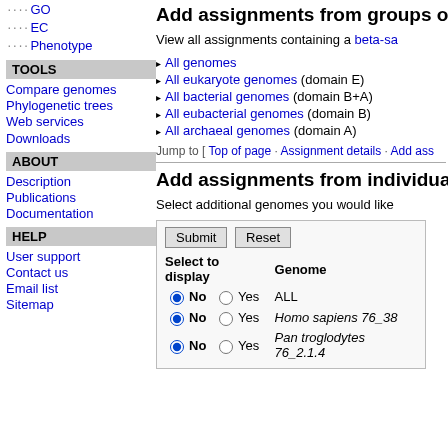GO
EC
Phenotype
TOOLS
Compare genomes
Phylogenetic trees
Web services
Downloads
ABOUT
Description
Publications
Documentation
HELP
User support
Contact us
Email list
Sitemap
Add assignments from groups o…
View all assignments containing a beta-sa…
All genomes
All eukaryote genomes (domain E)
All bacterial genomes (domain B+A)
All eubacterial genomes (domain B)
All archaeal genomes (domain A)
Jump to [ Top of page · Assignment details · Add ass…
Add assignments from individua…
Select additional genomes you would like…
| Select to display | Genome |
| --- | --- |
| No / Yes | ALL |
| No / Yes | Homo sapiens 76_38 |
| No / Yes | Pan troglodytes 76_2.1.4 |